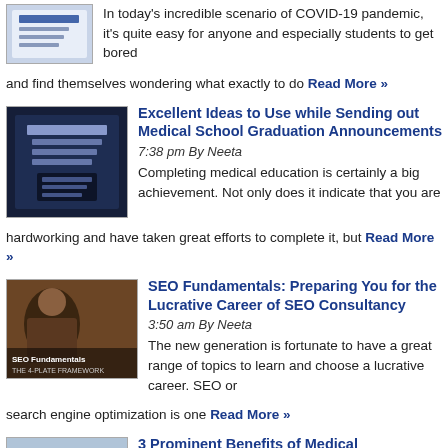[Figure (photo): Thumbnail image of a book/document cover]
In today's incredible scenario of COVID-19 pandemic, it's quite easy for anyone and especially students to get bored and find themselves wondering what exactly to do Read More »
[Figure (photo): Dark blue book/announcement card image]
Excellent Ideas to Use while Sending out Medical School Graduation Announcements
7:38 pm By Neeta
Completing medical education is certainly a big achievement. Not only does it indicate that you are hardworking and have taken great efforts to complete it, but Read More »
[Figure (photo): SEO Fundamentals video thumbnail with person]
SEO Fundamentals: Preparing You for the Lucrative Career of SEO Consultancy
3:50 am By Neeta
The new generation is fortunate to have a great range of topics to learn and choose a lucrative career. SEO or search engine optimization is one Read More »
[Figure (photo): Medical professionals performing CPR training]
3 Prominent Benefits of Medical Professionals Taking CPR Training
5:07 am By Neeta
CPR or Cardio-Pulmonary Resuscitation training is an